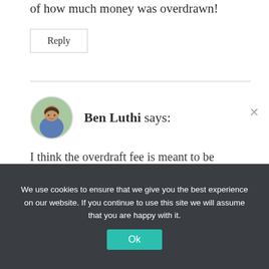of how much money was overdrawn!
Reply
Ben Luthi says:
I think the overdraft fee is meant to be punitive. That being said, as a former bank teller, I would tell people all the time who kept overdrafting to just withdraw the
We use cookies to ensure that we give you the best experience on our website. If you continue to use this site we will assume that you are happy with it. Ok